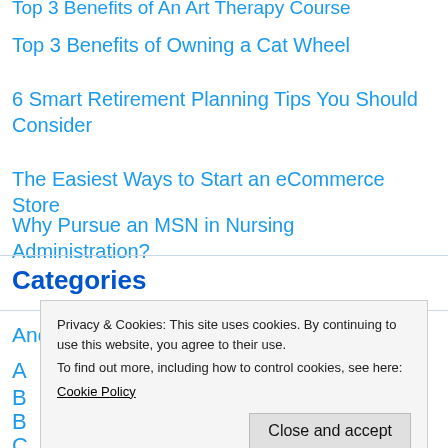Top 3 Benefits of Owning a Cat Wheel
6 Smart Retirement Planning Tips You Should Consider
The Easiest Ways to Start an eCommerce Store
Why Pursue an MSN in Nursing Administration?
Categories
Android And iOS
A...
B...
B...
C...
Digital Marketing
Earn Money
Privacy & Cookies: This site uses cookies. By continuing to use this website, you agree to their use.
To find out more, including how to control cookies, see here:
Cookie Policy
Close and accept